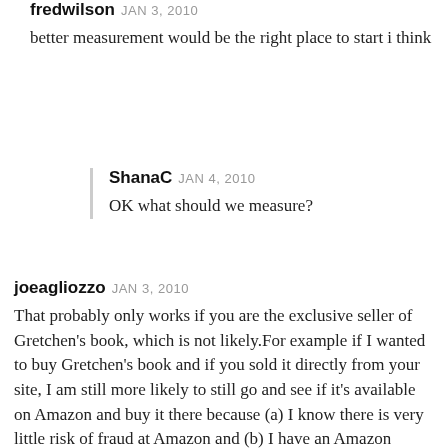fredwilson JAN 3, 2010
better measurement would be the right place to start i think
ShanaC JAN 4, 2010
OK what should we measure?
joeagliozzo JAN 3, 2010
That probably only works if you are the exclusive seller of Gretchen’s book, which is not likely.For example if I wanted to buy Gretchen’s book and if you sold it directly from your site, I am still more likely to still go and see if it’s available on Amazon and buy it there because (a) I know there is very little risk of fraud at Amazon and (b) I have an Amazon prime account and get free expedited shipping.I think the only way this